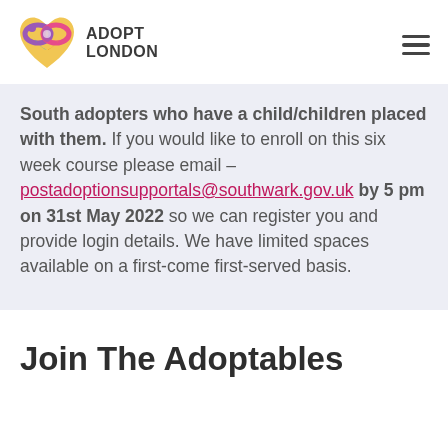[Figure (logo): Adopt London logo with colourful heart/infinity icon and bold text ADOPT LONDON]
South adopters who have a child/children placed with them. If you would like to enroll on this six week course please email – postadoptionsupportals@southwark.gov.uk by 5 pm on 31st May 2022 so we can register you and provide login details. We have limited spaces available on a first-come first-served basis.
Join The Adoptables